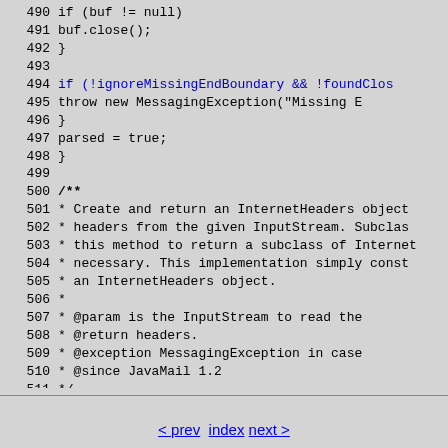[Figure (screenshot): Java source code listing showing lines 490-514 with line numbers, including finally block, ignoreMissingEndBoundary check, Javadoc comment, and createInternetHeaders method signature]
< prev  index  next >